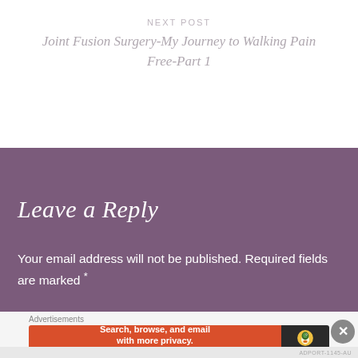NEXT POST
Joint Fusion Surgery-My Journey to Walking Pain Free-Part 1
Leave a Reply
Your email address will not be published. Required fields are marked *
[Figure (screenshot): DuckDuckGo advertisement banner: orange panel with 'Search, browse, and email with more privacy. All in One Free App' and dark panel with DuckDuckGo duck logo]
Advertisements